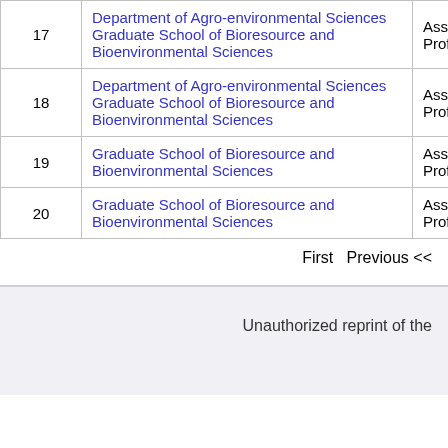| # | Department | Role |
| --- | --- | --- |
| 17 | Department of Agro-environmental Sciences
Graduate School of Bioresource and Bioenvironmental Sciences | Assistant Professor |
| 18 | Department of Agro-environmental Sciences
Graduate School of Bioresource and Bioenvironmental Sciences | Assistant Professor |
| 19 | Graduate School of Bioresource and Bioenvironmental Sciences | Assistant Professor |
| 20 | Graduate School of Bioresource and Bioenvironmental Sciences | Assistant Professor |
First   Previous <<
Unauthorized reprint of the